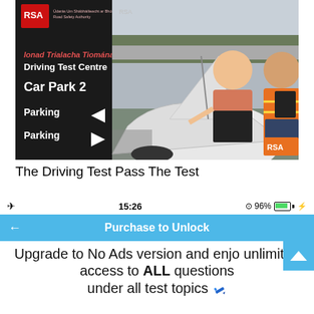[Figure (photo): Composite image: left side shows a black signboard with RSA logo reading 'Ionad Trialacha Tiomana / Driving Test Centre / Car Park 2 / Parking (arrow left) / Parking (arrow right)'. Right side shows a photo of a young woman and a man in an orange high-visibility vest looking under the hood of a white car in a car park. RSA logo visible bottom right of photo.]
The Driving Test Pass The Test
[Figure (screenshot): Mobile app screenshot showing status bar with airplane mode, time 15:26, 96% battery. Blue 'Purchase to Unlock' navigation bar with back arrow. White area with text 'Upgrade to No Ads version and enjoy unlimited access to ALL questions under all test topics' and a blue scroll-up button.]